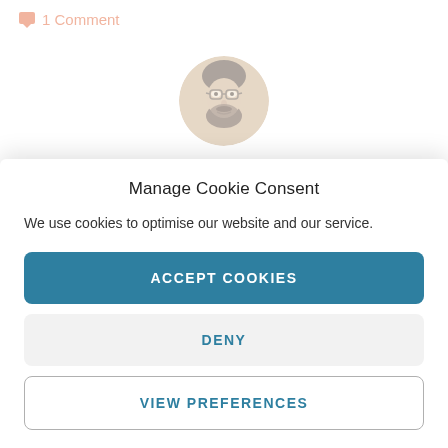1 Comment
[Figure (photo): Circular avatar photo of a bearded man wearing glasses]
Author: Mike Richmond
Mike spends what little spare time he has writing for WRUK·
Manage Cookie Consent
We use cookies to optimise our website and our service.
ACCEPT COOKIES
DENY
VIEW PREFERENCES